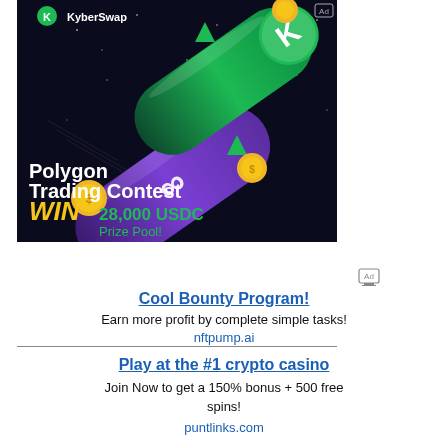[Figure (illustration): KyberSwap advertisement banner for Polygon Trading Contest. Dark background with purple and green cylindrical meteors/rockets, gold coins, triangular decorations. KyberSwap logo top left. Text: 'Polygon Trading Contest WIN 28,000 USDC Prize Pool!']
Cool Bounty Program!
Earn more profit by complete simple tasks!
nftpump.ai
Play at the #1 crypto casino
Join Now to get a 150% bonus + 500 free spins!
puntlinks.com